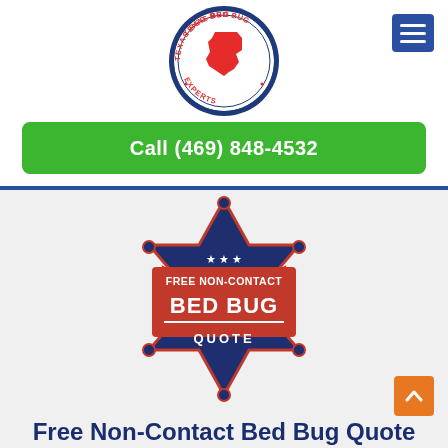[Figure (logo): Texas Bed Bug Experts circular logo with red Texas state outline in center, dark blue circular border with laurel wreath and text 'TEXAS BED BUG EXPERTS']
[Figure (other): Dark blue hamburger menu icon button with three white horizontal lines]
Call (469) 848-4532
[Figure (logo): Sheriff badge / six-pointed star logo in dark navy blue with red accents. Text reads: FREE NON-CONTACT (top, smaller), BED BUG (large center), QUOTE (bottom). Three white stars at top. Red horizontal bar separating BED BUG from QUOTE.]
Free Non-Contact Bed Bug Quote